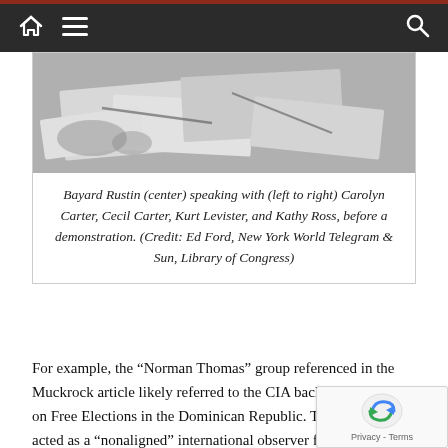Navigation bar with home, menu, and search icons
[Figure (photo): Black and white photograph of Bayard Rustin speaking with others, papers on a table, before a demonstration.]
Bayard Rustin (center) speaking with (left to right) Carolyn Carter, Cecil Carter, Kurt Levister, and Kathy Ross, before a demonstration. (Credit: Ed Ford, New York World Telegram & Sun, Library of Congress)
For example, the “Norman Thomas” group referenced in the Muckrock article likely referred to the CIA backed Committee on Free Elections in the Dominican Republic. The organization acted as a “nonaligned” international observer for the 1966 presidential elections which pitted socialist presidential candidate Juan Bosch ag... U.S. backed candidate, Joaquín Balaguer. Although